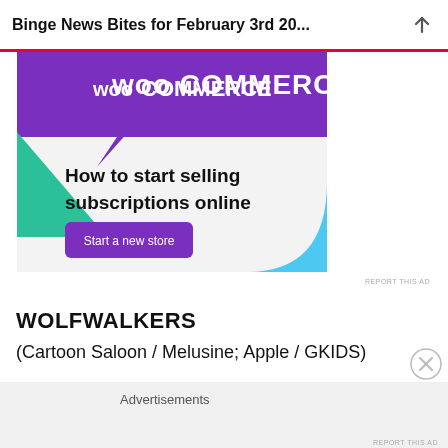Binge News Bites for February 3rd 20...
[Figure (other): WooCommerce advertisement banner showing WooCommerce logo at top with purple and teal geometric shapes, text reading 'How to start selling subscriptions online' and a purple 'Start a new store' button.]
REPORT THIS AD
WOLFWALKERS
(Cartoon Saloon / Melusine; Apple / GKIDS)
Advertisements
REPORT THIS AD